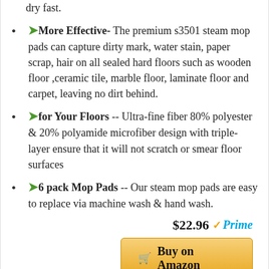dry fast.
🌿More Effective- The premium s3501 steam mop pads can capture dirty mark, water stain, paper scrap, hair on all sealed hard floors such as wooden floor ,ceramic tile, marble floor, laminate floor and carpet, leaving no dirt behind.
🌿for Your Floors -- Ultra-fine fiber 80% polyester & 20% polyamide microfiber design with triple-layer ensure that it will not scratch or smear floor surfaces
🌿6 pack Mop Pads -- Our steam mop pads are easy to replace via machine wash & hand wash.
$22.96 ✓Prime
Buy on Amazon